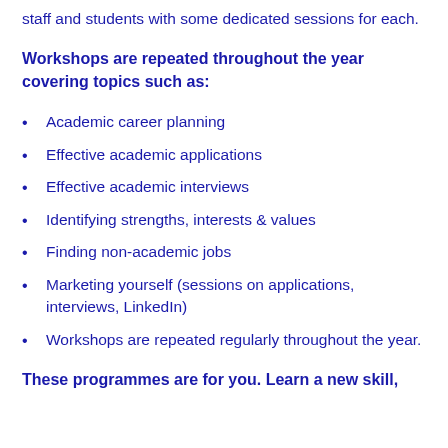staff and students with some dedicated sessions for each.
Workshops are repeated throughout the year covering topics such as:
Academic career planning
Effective academic applications
Effective academic interviews
Identifying strengths, interests & values
Finding non-academic jobs
Marketing yourself (sessions on applications, interviews, LinkedIn)
Workshops are repeated regularly throughout the year.
These programmes are for you. Learn a new skill,